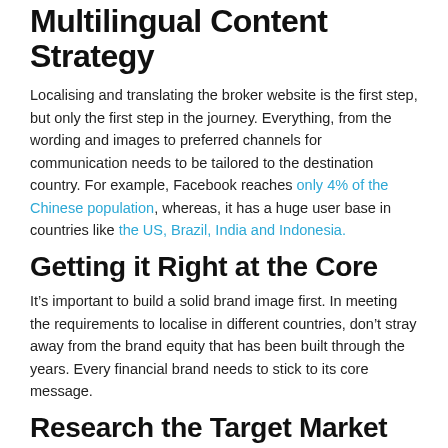Multilingual Content Strategy
Localising and translating the broker website is the first step, but only the first step in the journey. Everything, from the wording and images to preferred channels for communication needs to be tailored to the destination country. For example, Facebook reaches only 4% of the Chinese population, whereas, it has a huge user base in countries like the US, Brazil, India and Indonesia.
Getting it Right at the Core
It’s important to build a solid brand image first. In meeting the requirements to localise in different countries, don’t stray away from the brand equity that has been built through the years. Every financial brand needs to stick to its core message.
Research the Target Market
Learn everything you can about your target audience. This includes their values, culture, traditions, preferences, etc. These